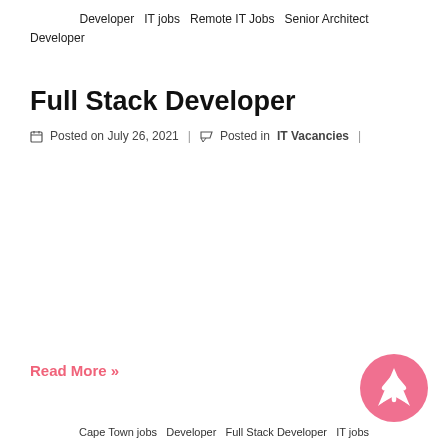Developer  IT jobs  Remote IT Jobs  Senior Architect Developer
Full Stack Developer
Posted on July 26, 2021  |  Posted in IT Vacancies  |
Read More »
Cape Town jobs  Developer  Full Stack Developer  IT jobs